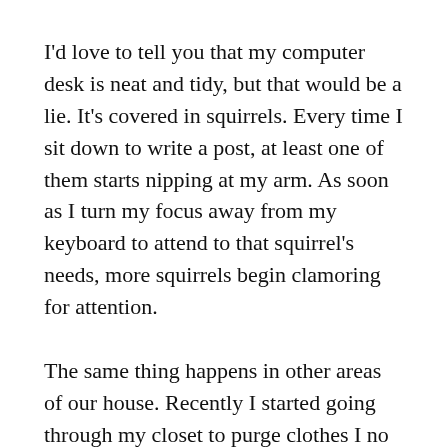I'd love to tell you that my computer desk is neat and tidy, but that would be a lie. It's covered in squirrels. Every time I sit down to write a post, at least one of them starts nipping at my arm. As soon as I turn my focus away from my keyboard to attend to that squirrel's needs, more squirrels begin clamoring for attention.
The same thing happens in other areas of our house. Recently I started going through my closet to purge clothes I no longer need only to be distracted by squirrels on my dresser, next to the bed, and even hiding in the linen closet. It is impossible to complete a chore while being bombarded with their incessant chatter.